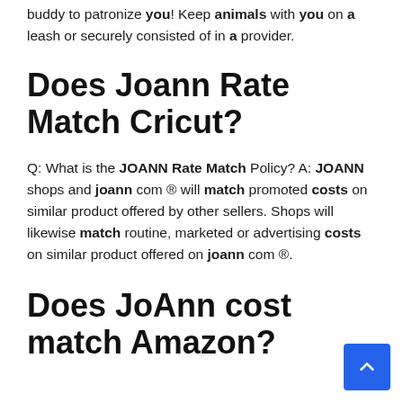buddy to patronize you! Keep animals with you on a leash or securely consisted of in a provider.
Does Joann Rate Match Cricut?
Q: What is the JOANN Rate Match Policy? A: JOANN shops and joann com ® will match promoted costs on similar product offered by other sellers. Shops will likewise match routine, marketed or advertising costs on similar product offered on joann com ®.
Does JoAnn cost match Amazon?